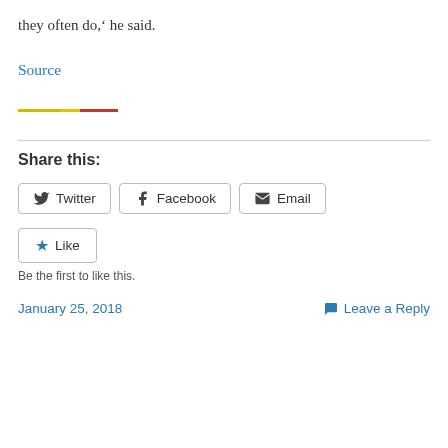they often do,' he said.
Source
[Figure (other): Decorative colored horizontal line with yellow and red segments]
Share this:
Twitter  Facebook  Email
Like
Be the first to like this.
January 25, 2018   Leave a Reply